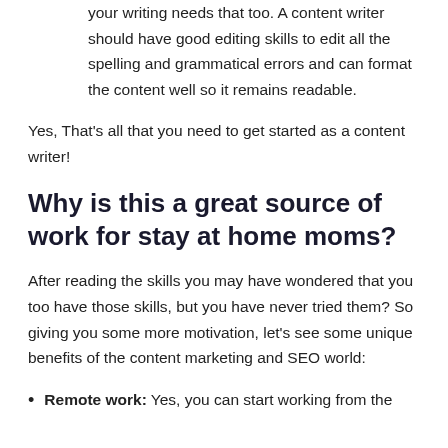your writing needs that too. A content writer should have good editing skills to edit all the spelling and grammatical errors and can format the content well so it remains readable.
Yes, That's all that you need to get started as a content writer!
Why is this a great source of work for stay at home moms?
After reading the skills you may have wondered that you too have those skills, but you have never tried them? So giving you some more motivation, let's see some unique benefits of the content marketing and SEO world:
Remote work: Yes, you can start working from the